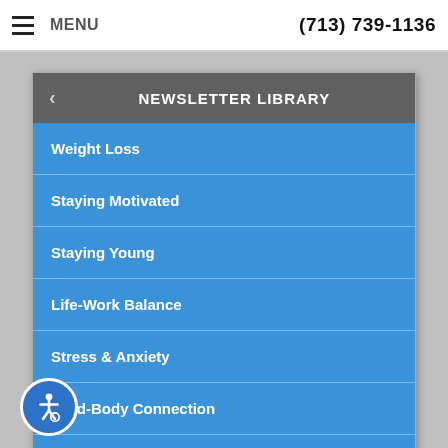MENU  (713) 739-1136
NEWSLETTER LIBRARY
Weight Loss
Staying Motivated
Staying Young
Life-Work Balance
Stress & Anxiety
Mind-Body Connection
Wellness
Pregnancy & Parenting